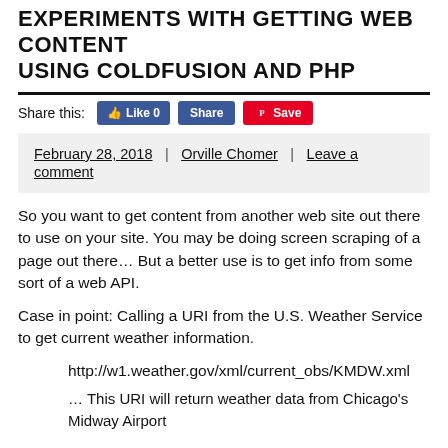EXPERIMENTS WITH GETTING WEB CONTENT USING COLDFUSION AND PHP
Share this:
February 28, 2018 | Orville Chomer | Leave a comment
So you want to get content from another web site out there to use on your site. You may be doing screen scraping of a page out there… But a better use is to get info from some sort of a web API.
Case in point: Calling a URI from the U.S. Weather Service to get current weather information.
http://w1.weather.gov/xml/current_obs/KMDW.xml
… This URI will return weather data from Chicago's Midway Airport